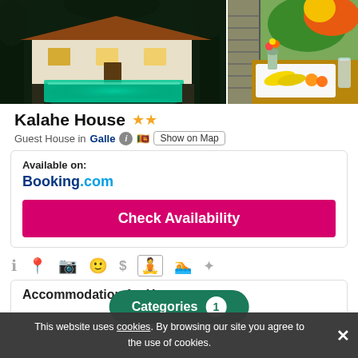[Figure (photo): Night photo of Kalahe House with illuminated swimming pool in foreground and white villa building in background surrounded by tropical trees]
[Figure (photo): Indoor photo showing a breakfast tray with bananas and fruits on a white plate, vase with tropical flowers, and glass, on a wooden table with green foliage in background]
Kalahe House ★★
Guest House in Galle [info] [flag] Show on Map
Available on:
Booking.com
Check Availability
Accommodation for Yoga
Categories 1
This website uses cookies. By browsing our site you agree to the use of cookies.